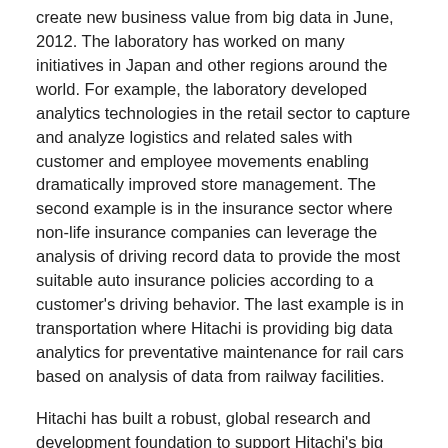create new business value from big data in June, 2012. The laboratory has worked on many initiatives in Japan and other regions around the world. For example, the laboratory developed analytics technologies in the retail sector to capture and analyze logistics and related sales with customer and employee movements enabling dramatically improved store management. The second example is in the insurance sector where non-life insurance companies can leverage the analysis of driving record data to provide the most suitable auto insurance policies according to a customer's driving behavior. The last example is in transportation where Hitachi is providing big data analytics for preventative maintenance for rail cars based on analysis of data from railway facilities.
Hitachi has built a robust, global research and development foundation to support Hitachi's big data business. As part of this foundation, Hitachi established the Big Data Research Laboratory in the U.S. on April 1, 2013, which consists of big data specialists in data analytics, marketing and research.
The HGC-IA will coordinate and integrate activities across Hitachi, Hitachi Consulting and Hitachi Data Systems to extend big data research and development into the business and IT